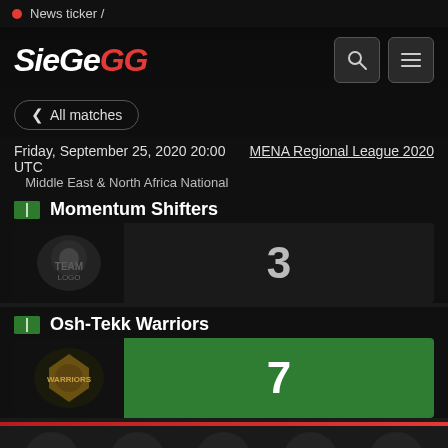News ticker /
[Figure (logo): SiegeGG logo with white SIEGE and red GG text, search icon and hamburger menu icon]
< All matches
Friday, September 25, 2020 20:00 UTC     MENA Regional League 2020
Middle East & North Africa National
Momentum Shifters
3
Osh-Tekk Warriors
7